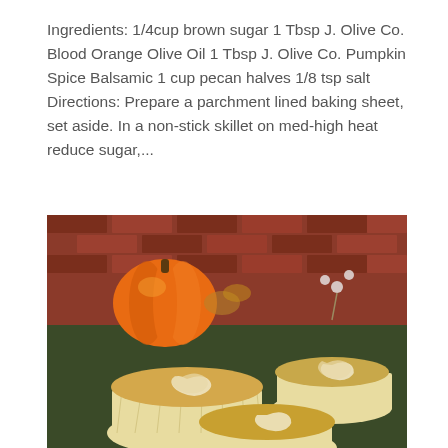Ingredients: 1/4cup brown sugar 1 Tbsp J. Olive Co. Blood Orange Olive Oil 1 Tbsp J. Olive Co. Pumpkin Spice Balsamic 1 cup pecan halves 1/8 tsp salt Directions: Prepare a parchment lined baking sheet, set aside. In a non-stick skillet on med-high heat reduce sugar,...
[Figure (photo): Photo of several cupcakes in white paper liners with swirled caramel/cream cheese topping, arranged on a dark green surface with a small orange pumpkin and red brick wall in the background.]